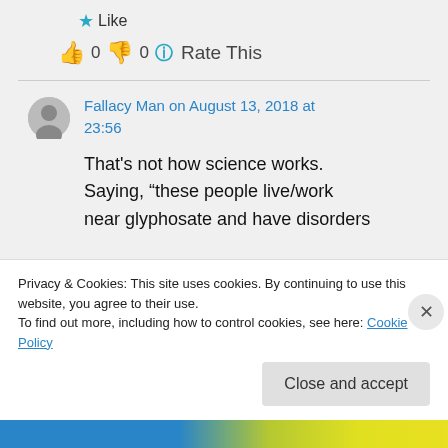★ Like
👍 0 👎 0 ℹ Rate This
Fallacy Man on August 13, 2018 at 23:56
That's not how science works. Saying, "these people live/work near glyphosate and have disorders
Privacy & Cookies: This site uses cookies. By continuing to use this website, you agree to their use.
To find out more, including how to control cookies, see here: Cookie Policy
Close and accept